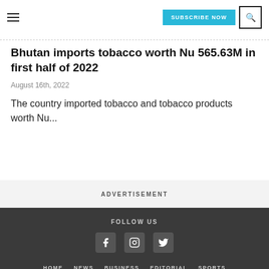SUBSCRIBE NOW | Search
Bhutan imports tobacco worth Nu 565.63M in first half of 2022
August 16th, 2022
The country imported tobacco and tobacco products worth Nu...
ADVERTISEMENT
FOLLOW US | HOME | NEWS | BUSINESS | EDITORIAL | SPORTS